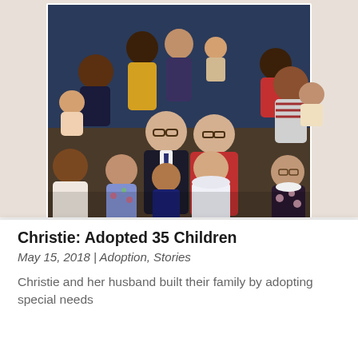[Figure (photo): Group family photo of an older couple surrounded by approximately 13 children of various ethnicities and ages, taken indoors against a blue background. The woman is wearing red, the man is in a dark suit. The children are dressed in formal clothes.]
Christie: Adopted 35 Children
May 15, 2018 | Adoption, Stories
Christie and her husband built their family by adopting special needs